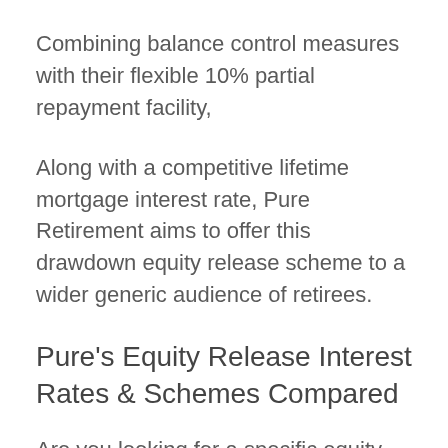Combining balance control measures with their flexible 10% partial repayment facility,
Along with a competitive lifetime mortgage interest rate, Pure Retirement aims to offer this drawdown equity release scheme to a wider generic audience of retirees.
Pure's Equity Release Interest Rates & Schemes Compared
Are you looking for a specific equity release